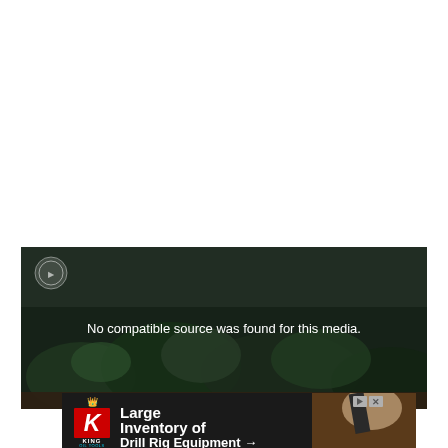[Figure (screenshot): Video player with dark green/nature background showing plants and soil. Displays message 'No compatible source was found for this media.' A small circular icon is visible in the top left of the video player.]
[Figure (screenshot): Advertisement banner for King Oil Tools showing logo (red K with crown, 'KING OIL TOOLS' text), and text 'Large Inventory of Drill Rig Equipment →' on dark background. Top right has play and close (X) buttons.]